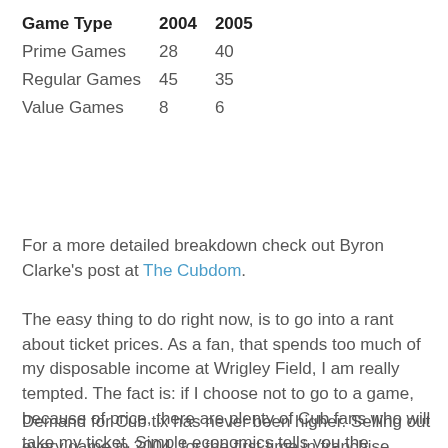| Game Type | 2004 | 2005 |
| --- | --- | --- |
| Prime Games | 28 | 40 |
| Regular Games | 45 | 35 |
| Value Games | 8 | 6 |
For a more detailed breakdown check out Byron Clarke's post at The Cubdom.
The easy thing to do right now, is to go into a rant about ticket prices. As a fan, that spends too much of my disposable income at Wrigley Field, I am really tempted. The fact is: if I choose not to go to a game, because of price, there are plenty of Cub fans who will take my ticket. Simple economics tells you the increase is the right decision.
Demand for Cub tix has never been higher. Selling out every game in 2004, for the first time in franchise history,